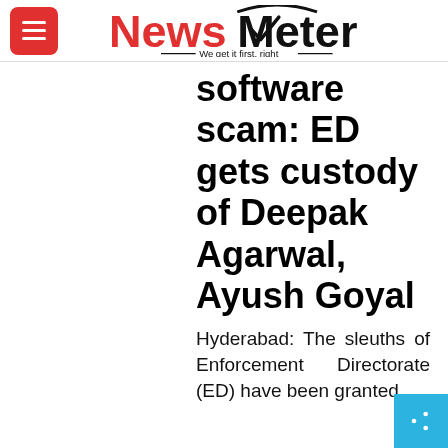NewsMeter — We get it first, right
software scam: ED gets custody of Deepak Agarwal, Ayush Goyal
Hyderabad: The sleuths of Enforcement Directorate (ED) have been granted